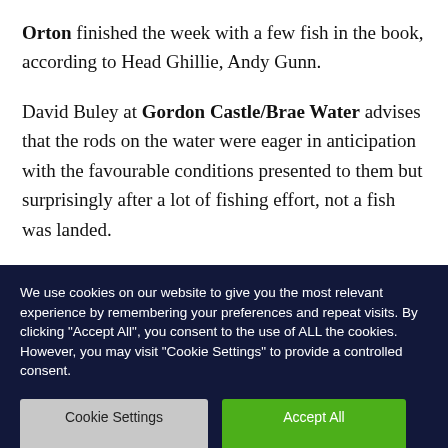Orton finished the week with a few fish in the book, according to Head Ghillie, Andy Gunn.
David Buley at Gordon Castle/Brae Water advises that the rods on the water were eager in anticipation with the favourable conditions presented to them but surprisingly after a lot of fishing effort, not a fish was landed.
We use cookies on our website to give you the most relevant experience by remembering your preferences and repeat visits. By clicking "Accept All", you consent to the use of ALL the cookies. However, you may visit "Cookie Settings" to provide a controlled consent.